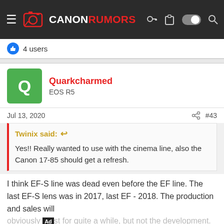CANONRUMORS
4 users
Quarkcharmed
EOS R5
Jul 13, 2020   #43
Twinix said:
Yes!! Really wanted to use with the cinema line, also the Canon 17-85 should get a refresh.
I think EF-S line was dead even before the EF line. The last EF-S lens was in 2017, last EF - 2018. The production and sales will obviously last for quite a while, but not the development.
1 users